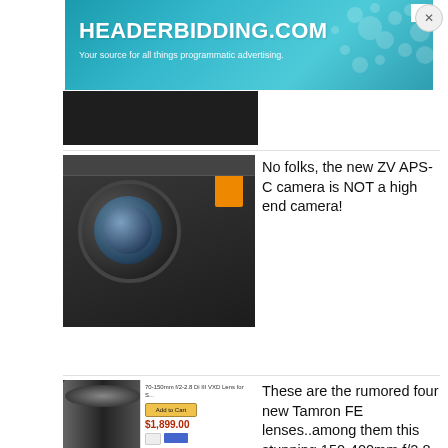[Figure (screenshot): HEADERBIDDING.COM advertisement banner - teal gradient background with text 'HEADERBIDDING.COM' and subtitle 'Your source for all things programmatic advertising.']
[Figure (photo): Thumbnail image of a Sony ZV APS-C mirrorless camera with lens attached and orange card inserted]
No folks, the new ZV APS-C camera is NOT a high end camera!
[Figure (photo): Thumbnail of a Tamron 70-150mm lens with product listing showing $1,899.00 price]
These are the rumored four new Tamron FE lenses..among them this stunning 150-400mm f/2.8-5.6 zoom???
[Figure (screenshot): Black video player area with white play button triangle in center]